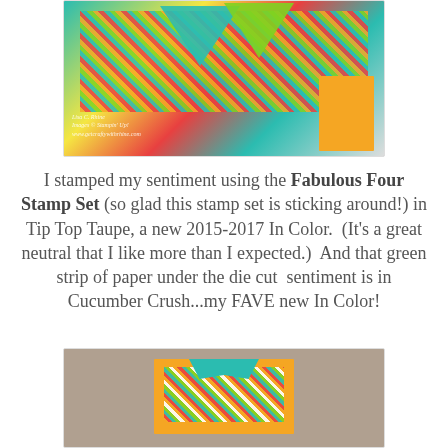[Figure (photo): Photo of a handmade greeting card with colorful diagonal stripe pattern and teal/green pennant/banner decoration on a yellow card base, with washi tape rolls in background. Watermark: Lisa C. Rhine, Images © Stampin' Up!, www.getcraftywithrhine.com]
I stamped my sentiment using the Fabulous Four Stamp Set (so glad this stamp set is sticking around!) in Tip Top Taupe, a new 2015-2017 In Color.  (It's a great neutral that I like more than I expected.)  And that green strip of paper under the die cut  sentiment is in Cucumber Crush...my FAVE new In Color!
[Figure (photo): Photo of a handmade greeting card with colorful diagonal stripe chevron pattern on a yellow card base, partially visible at bottom of page.]